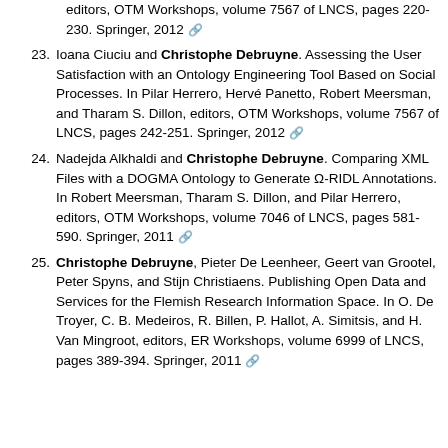(continuation) editors, OTM Workshops, volume 7567 of LNCS, pages 220-230. Springer, 2012 [link]
23. Ioana Ciuciu and Christophe Debruyne. Assessing the User Satisfaction with an Ontology Engineering Tool Based on Social Processes. In Pilar Herrero, Hervé Panetto, Robert Meersman, and Tharam S. Dillon, editors, OTM Workshops, volume 7567 of LNCS, pages 242-251. Springer, 2012 [link]
24. Nadejda Alkhaldi and Christophe Debruyne. Comparing XML Files with a DOGMA Ontology to Generate Ω-RIDL Annotations. In Robert Meersman, Tharam S. Dillon, and Pilar Herrero, editors, OTM Workshops, volume 7046 of LNCS, pages 581-590. Springer, 2011 [link]
25. Christophe Debruyne, Pieter De Leenheer, Geert van Grootel, Peter Spyns, and Stijn Christiaens. Publishing Open Data and Services for the Flemish Research Information Space. In O. De Troyer, C. B. Medeiros, R. Billen, P. Hallot, A. Simitsis, and H. Van Mingroot, editors, ER Workshops, volume 6999 of LNCS, pages 389-394. Springer, 2011 [link]